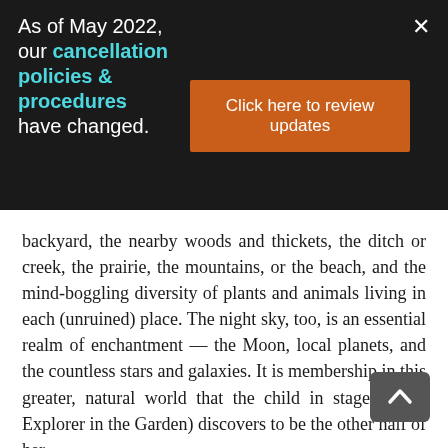As of May 2022, our cancellation policies & procedures have changed.
Click here to review updates
backyard, the nearby woods and thickets, the ditch or creek, the prairie, the mountains, or the beach, and the mind-boggling diversity of plants and animals living in each (unruined) place. The night sky, too, is an essential realm of enchantment — the Moon, local planets, and the countless stars and galaxies. It is membership in this greater, natural world that the child in stage 2 (the Explorer in the Garden) discovers to be the other half of her